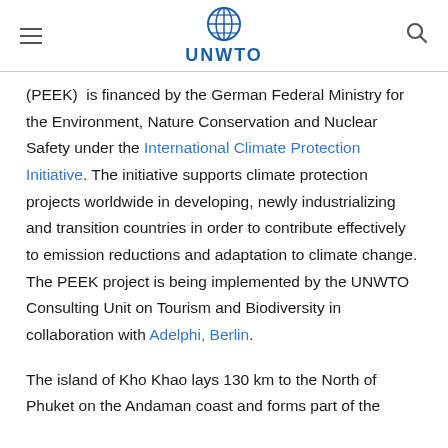UNWTO
(PEEK)  is financed by the German Federal Ministry for the Environment, Nature Conservation and Nuclear Safety under the International Climate Protection Initiative. The initiative supports climate protection projects worldwide in developing, newly industrializing and transition countries in order to contribute effectively to emission reductions and adaptation to climate change. The PEEK project is being implemented by the UNWTO Consulting Unit on Tourism and Biodiversity in collaboration with Adelphi, Berlin.
The island of Kho Khao lays 130 km to the North of Phuket on the Andaman coast and forms part of the